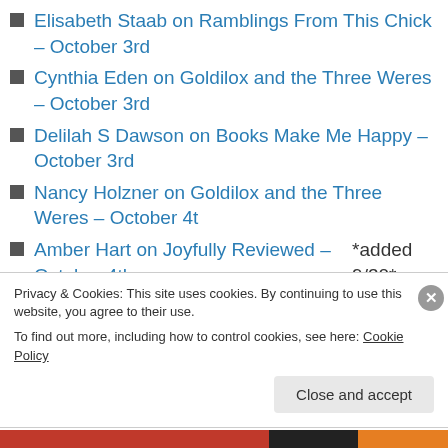Elisabeth Staab on Ramblings From This Chick – October 3rd
Cynthia Eden on Goldilox and the Three Weres – October 3rd
Delilah S Dawson on Books Make Me Happy – October 3rd
Nancy Holzner on Goldilox and the Three Weres – October 4t
Amber Hart on Joyfully Reviewed – October 4th *added 9/30*
Stephanie Julian on Ramblings From This Chick –
Privacy & Cookies: This site uses cookies. By continuing to use this website, you agree to their use.
To find out more, including how to control cookies, see here: Cookie Policy